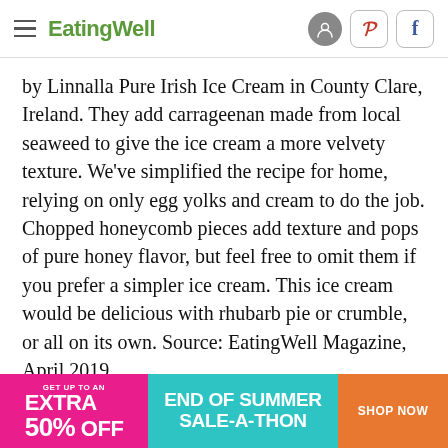EatingWell
by Linnalla Pure Irish Ice Cream in County Clare, Ireland. They add carrageenan made from local seaweed to give the ice cream a more velvety texture. We've simplified the recipe for home, relying on only egg yolks and cream to do the job. Chopped honeycomb pieces add texture and pops of pure honey flavor, but feel free to omit them if you prefer a simpler ice cream. This ice cream would be delicious with rhubarb pie or crumble, or all on its own. Source: EatingWell Magazine, April 2019
[Figure (infographic): Advertisement banner: GET UP TO AN EXTRA 50% OFF | END OF SUMMER SALE-A-THON | SHOP NOW]